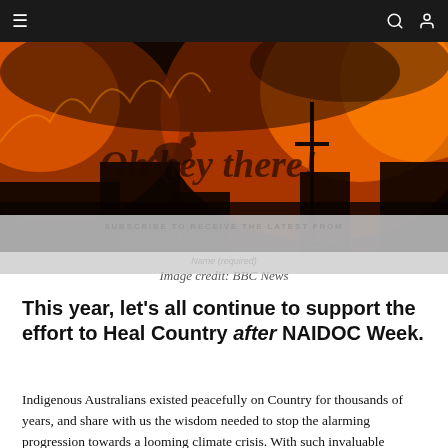[Figure (photo): Wildfire/bushfire scene at night with intense orange flames and smoke, with a kangaroo silhouette and 'Oh hey there!' text overlay visible as a subscription prompt overlay]
Image credit: BBC News
This year, let's all continue to support the effort to Heal Country after NAIDOC Week.
Indigenous Australians existed peacefully on Country for thousands of years, and share with us the wisdom needed to stop the alarming progression towards a looming climate crisis. With such invaluable